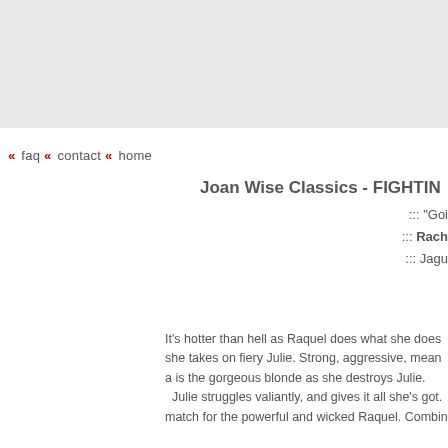[Figure (other): Gray banner/header area at top of page]
« faq « contact « home
Joan Wise Classics - FIGHTIN
::: "Goi
::: Rach
::: Jagu
It's hotter than hell as Raquel does what she does she takes on fiery Julie. Strong, aggressive, mean a is the gorgeous blonde as she destroys Julie. Julie struggles valiantly, and gives it all she's got. match for the powerful and wicked Raquel. Combin